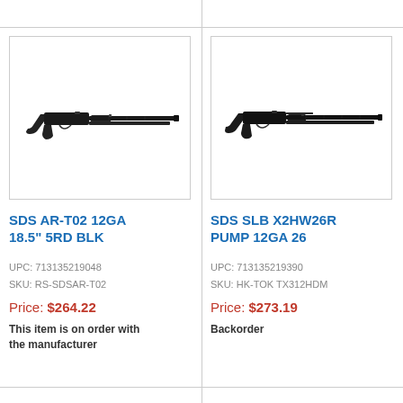[Figure (photo): SDS AR-T02 12GA pump-action shotgun, black, side profile view]
SDS AR-T02 12GA 18.5" 5RD BLK
UPC: 713135219048
SKU: RS-SDSAR-T02
Price: $264.22
This item is on order with the manufacturer
[Figure (photo): SDS SLB X2HW26R pump-action shotgun, black, side profile view]
SDS SLB X2HW26R PUMP 12GA 26
UPC: 713135219390
SKU: HK-TOK TX312HDM
Price: $273.19
Backorder